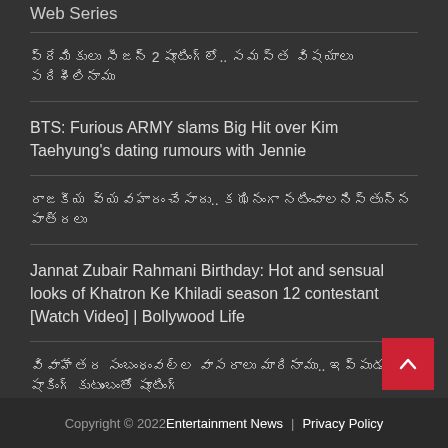Web Series
ప్రేమికులు సీజన్ 2 షూటింగ్లో.. సమస్త విషయాలు పరిశీలినాము
BTS: Furious ARMY slams Big Hit over Kim Taehyung's dating rumours with Jennie
రాజకీయ వ్యవహారం చేసాదు.. కఝినంగా నటించాలనిస్తున్న పాత్రలు
Jannat Zubair Rahmani Birthday: Hot and sensual looks of Khatron Ke Khiladi season 12 contestant [Watch Video] | Bollywood Life
వివాహేతర సంబంధంవల్ల వాసరాలు మారినాము.. ఇప్పుడు షాకింగ్ కుటుంబంతో షూటింగ్
Copyright © 2022 Entertainment News  |  Privacy Policy